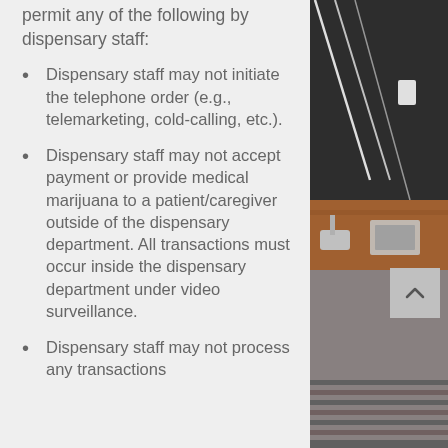permit any of the following by dispensary staff:
Dispensary staff may not initiate the telephone order (e.g., telemarketing, cold-calling, etc.).
Dispensary staff may not accept payment or provide medical marijuana to a patient/caregiver outside of the dispensary department. All transactions must occur inside the dispensary department under video surveillance.
Dispensary staff may not process any transactions
[Figure (photo): Interior photo of a dispensary with dark marble walls and wooden counter/desk area visible on right side of page]